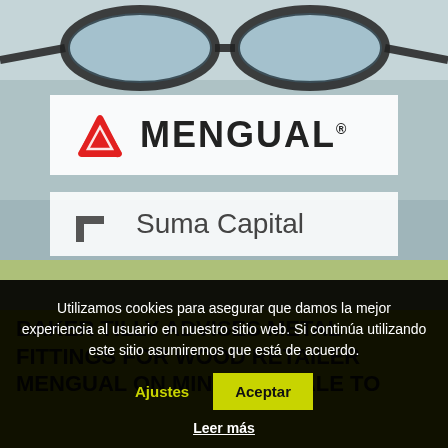[Figure (photo): Background photo of eyeglasses on a desk with blurred papers, overlaid with the Mengual logo and Suma Capital logo on white banners]
BAKER TILLY ADVISES METAL FITTINGS FOR WOOD RETAILER MENGUAL ON MINORITY SALE TO
Utilizamos cookies para asegurar que damos la mejor experiencia al usuario en nuestro sitio web. Si continúa utilizando este sitio asumiremos que está de acuerdo.
Ajustes
Aceptar
Leer más